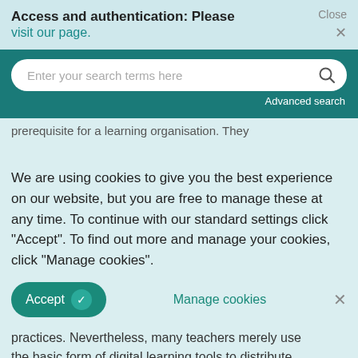Access and authentication: Please visit our page.
[Figure (screenshot): Search bar with placeholder text 'Enter your search terms here' and a search icon, on a teal background with 'Advanced search' link below]
prerequisite for a learning organisation. They
We are using cookies to give you the best experience on our website, but you are free to manage these at any time. To continue with our standard settings click "Accept". To find out more and manage your cookies, click "Manage cookies".
Accept   Manage cookies   ×
practices. Nevertheless, many teachers merely use the basic form of digital learning tools to distribute